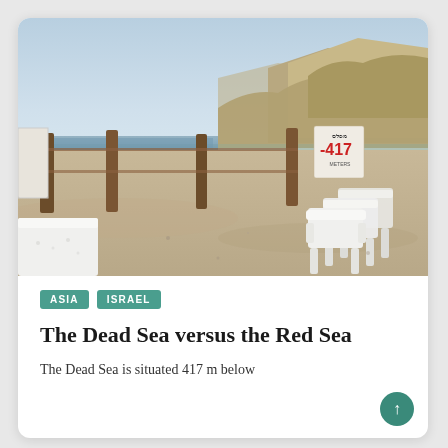[Figure (photo): Photograph of the Dead Sea shoreline showing white plastic stacked chairs in the foreground, wooden fence posts, a sign reading -417 m elevation, sandy arid ground, water visible in the middle distance, and rocky mountains in the background under a hazy blue sky.]
ASIA
ISRAEL
The Dead Sea versus the Red Sea
The Dead Sea is situated 417 m below